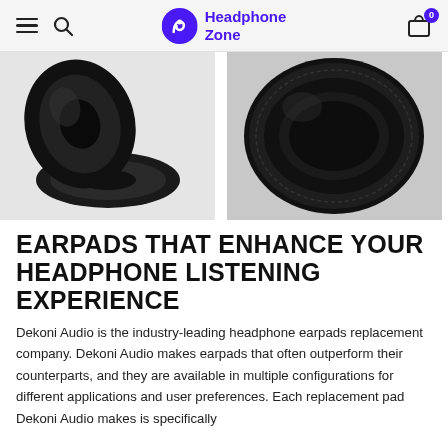Headphone Zone
[Figure (photo): Two product photos of black headphone earpads: left image shows earpads at an angle with one upright and one lying flat; right image shows a single earpad from the top/front view showing the oval cushion shape]
EARPADS THAT ENHANCE YOUR HEADPHONE LISTENING EXPERIENCE
Dekoni Audio is the industry-leading headphone earpads replacement company. Dekoni Audio makes earpads that often outperform their counterparts, and they are available in multiple configurations for different applications and user preferences. Each replacement pad Dekoni Audio makes is specifically designed for that intended headphone model. So replacement pads